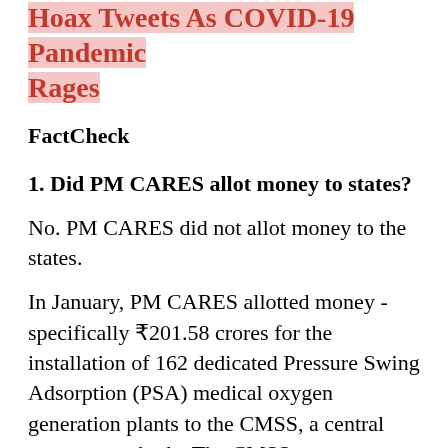Hoax Tweets As COVID-19 Pandemic Rages
FactCheck
1. Did PM CARES allot money to states?
No. PM CARES did not allot money to the states.
In January, PM CARES allotted money - specifically ₹201.58 crores for the installation of 162 dedicated Pressure Swing Adsorption (PSA) medical oxygen generation plants to the CMSS, a central government body. The CMSS was